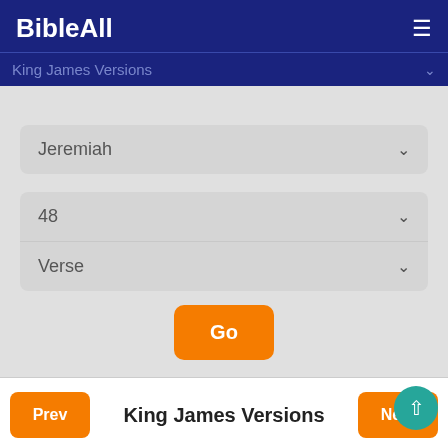BibleAll
King James Versions
Jeremiah
48
Verse
Go
Prev  King James Versions  Next